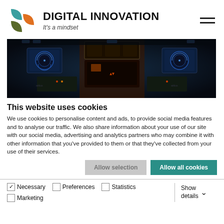[Figure (logo): Digital Innovation logo with teal, olive and orange geometric leaf shapes]
DIGITAL INNOVATION
It's a mindset
[Figure (photo): Airplane cockpit with illuminated instrument panels in the dark]
This website uses cookies
We use cookies to personalise content and ads, to provide social media features and to analyse our traffic. We also share information about your use of our site with our social media, advertising and analytics partners who may combine it with other information that you've provided to them or that they've collected from your use of their services.
Allow selection | Allow all cookies
Necessary  Preferences  Statistics  Marketing  Show details